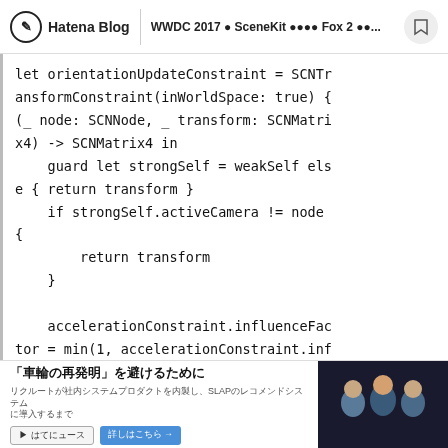Hatena Blog | WWDC 2017 ● SceneKit ●●●● Fox 2 ●●...
let orientationUpdateConstraint = SCNTransformConstraint(inWorldSpace: true) {
(_ node: SCNNode, _ transform: SCNMatrix4) -> SCNMatrix4 in
    guard let strongSelf = weakSelf else { return transform }
    if strongSelf.activeCamera != node {
            return transform
    }

    accelerationConstraint.influenceFactor = min(1, accelerationConstraint.inf
[Figure (screenshot): Ad banner: 「車輪の再発明」を避けるために with Japanese promotional text and people photo]